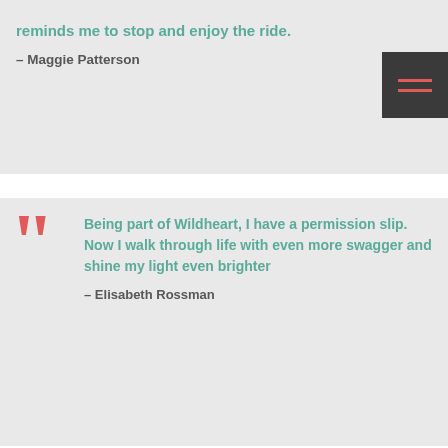reminds me to stop and enjoy the ride.
– Maggie Patterson
Being part of Wildheart, I have a permission slip. Now I walk through life with even more swagger and shine my light even brighter
– Elisabeth Rossman
Wildhearting with Sally changed my life, for the better and for good. After one month in the Wildheart Revolution, I have stronger tools at my disposal to handle my